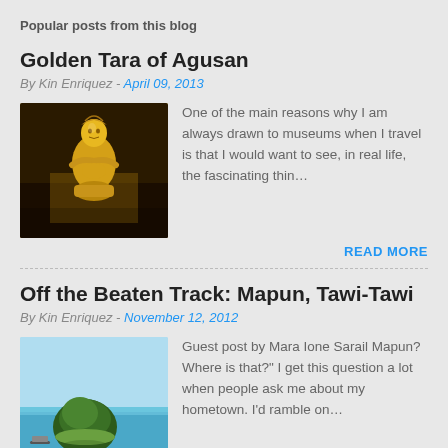Popular posts from this blog
Golden Tara of Agusan
By Kin Enriquez - April 09, 2013
[Figure (photo): Golden Tara figurine, a gold artifact statue in seated position against dark background]
One of the main reasons why I am always drawn to museums when I travel is that I would want to see, in real life, the fascinating thin…
READ MORE
Off the Beaten Track: Mapun, Tawi-Tawi
By Kin Enriquez - November 12, 2012
[Figure (photo): Small island with dark green trees surrounded by light blue water, with a boat visible in distance]
Guest post by Mara Ione Sarail Mapun? Where is that?" I get this question a lot when people ask me about my hometown. I'd ramble on…